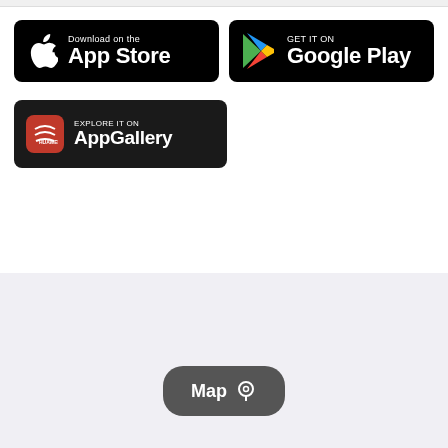[Figure (logo): Download on the App Store badge - black background with Apple logo]
[Figure (logo): GET IT ON Google Play badge - black background with Google Play triangle logo]
[Figure (logo): EXPLORE IT ON AppGallery badge - dark background with Huawei red square logo]
[Figure (other): Map button with location pin icon]